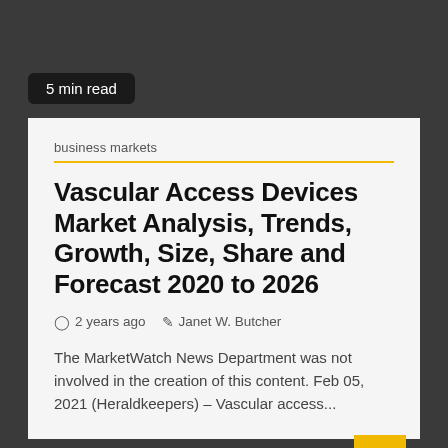5 min read
business markets
Vascular Access Devices Market Analysis, Trends, Growth, Size, Share and Forecast 2020 to 2026
2 years ago  Janet W. Butcher
The MarketWatch News Department was not involved in the creation of this content. Feb 05, 2021 (Heraldkeepers) – Vascular access...